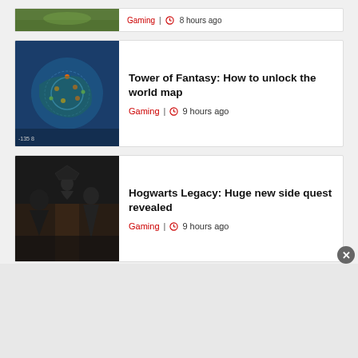[Figure (screenshot): Partial top card showing a game screenshot (golf/sports) with Gaming tag and 8 hours ago timestamp]
[Figure (screenshot): Tower of Fantasy world map screenshot with blue background and map markers]
Tower of Fantasy: How to unlock the world map
Gaming | 9 hours ago
[Figure (screenshot): Hogwarts Legacy screenshot showing characters in dark indoor scene]
Hogwarts Legacy: Huge new side quest revealed
Gaming | 9 hours ago
[Figure (screenshot): Hogwarts Legacy castle in misty atmosphere]
Hogwarts Legacy: Release Date, Gameplay Trailer and Everything We Know So Far